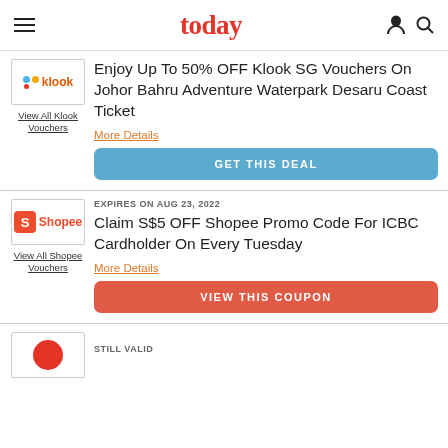today
[Figure (logo): Klook logo with colored dots]
View All Klook Vouchers
Enjoy Up To 50% OFF Klook SG Vouchers On Johor Bahru Adventure Waterpark Desaru Coast Ticket
More Details
GET THIS DEAL
EXPIRES ON AUG 23, 2022
[Figure (logo): Shopee logo]
View All Shopee Vouchers
Claim S$5 OFF Shopee Promo Code For ICBC Cardholder On Every Tuesday
More Details
VIEW THIS COUPON
STILL VALID